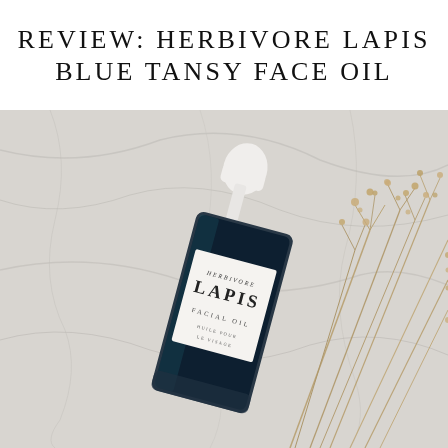REVIEW: HERBIVORE LAPIS BLUE TANSY FACE OIL
[Figure (photo): A flat-lay photo on marble surface showing a dark blue glass dropper bottle labeled 'HERBIVORE LAPIS FACIAL OIL' with a white rubber dropper cap, accompanied by dried floral stems on the right side. The marble background is light grey with natural veining.]